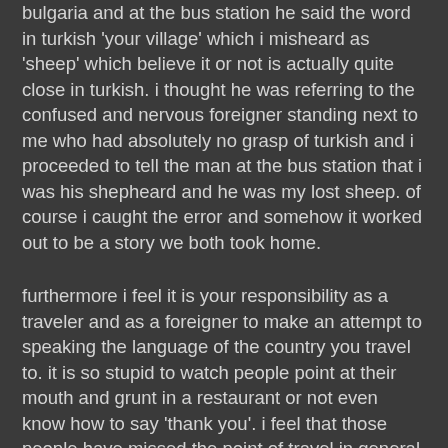bulgaria and at the bus station he said the word in turkish 'your village' which i misheard as 'sheep' which believe it or not is actually quite close in turkish. i thought he was referring to the confused and nervous foreigner standing next to me who had absolutely no grasp of turkish and i proceeded to tell the man at the bus station that i was his shepheard and he was my lost sheep. of course i caught the error and somehow it worked out to be a story we both took home.
furthermore i feel it is your responsibility as a traveler and as a foreigner to make an attempt to speaking the language of the country you travel to. it is so stupid to watch people point at their mouth and grunt in a restaurant or not even know how to say 'thank you'. i feel that those people have missed the point of travel in general. it is of course our purpose as travelers to learn more about the places we travel and also to represent our own cultures as best as we can. surely we americans dont want to prove that we are knuckle dragging apes any more than we do in other instances.
i love this.. i love this lifestyle and i never want to leave it. it is